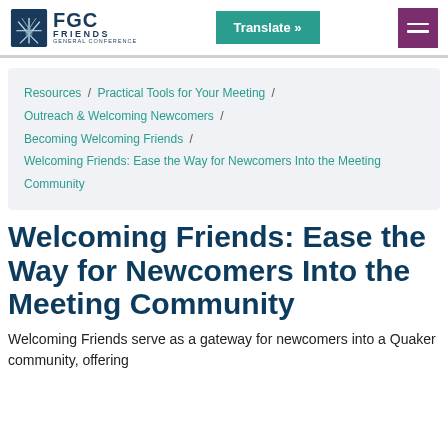FGC Friends General Conference | Translate » | [menu]
Resources / Practical Tools for Your Meeting / Outreach & Welcoming Newcomers / Becoming Welcoming Friends / Welcoming Friends: Ease the Way for Newcomers Into the Meeting Community
Welcoming Friends: Ease the Way for Newcomers Into the Meeting Community
Welcoming Friends serve as a gateway for newcomers into a Quaker community, offering